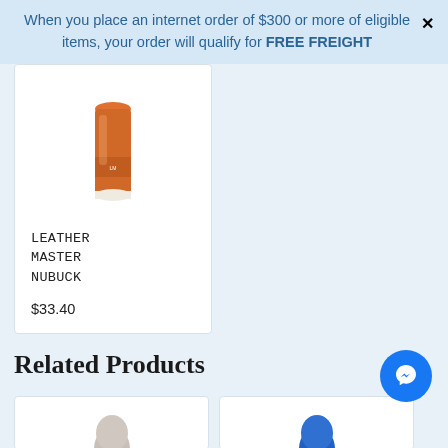When you place an internet order of $300 or more of eligible items, your order will qualify for FREE FREIGHT
[Figure (photo): Orange/tan cylindrical product bottle (Leather Master Nubuck cleaner) on white background]
LEATHER MASTER NUBUCK
$33.40
Related Products
[Figure (photo): Partial product image at bottom left]
[Figure (photo): Partial product image at bottom right]